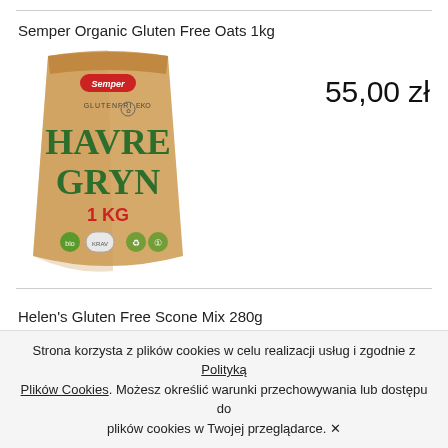Semper Organic Gluten Free Oats 1kg
[Figure (photo): Semper Havre Gryn 1kg gluten-free oats bag — kraft paper bag with green HAVRE GRYN text and 1 KG label]
55,00 zł
Helen's Gluten Free Scone Mix 280g
[Figure (photo): Partially visible product image for Helen's Gluten Free Scone Mix]
27,00 zł
Strona korzysta z plików cookies w celu realizacji usług i zgodnie z Polityką Plików Cookies. Możesz określić warunki przechowywania lub dostępu do plików cookies w Twojej przeglądarce. ✕